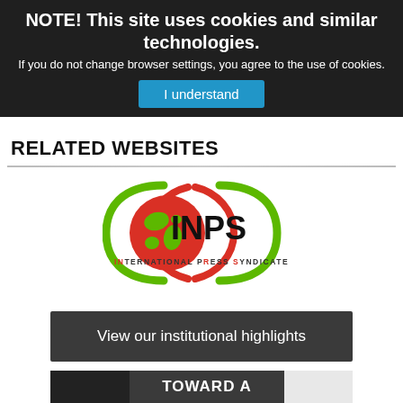NOTE! This site uses cookies and similar technologies.
If you do not change browser settings, you agree to the use of cookies.
I understand
RELATED WEBSITES
[Figure (logo): International Press Syndicate (INPS) logo: overlapping globe and swoosh design in red and green with INPS text and full name below]
View our institutional highlights
TOWARD A